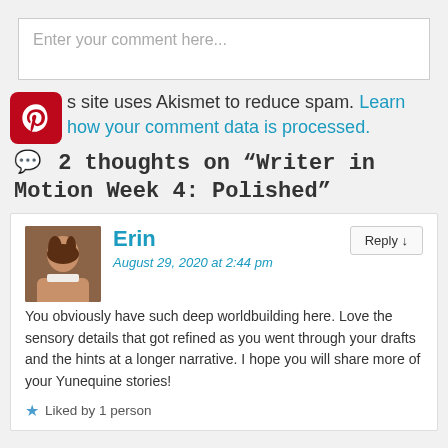Enter your comment here...
This site uses Akismet to reduce spam. Learn how your comment data is processed.
2 thoughts on “Writer in Motion Week 4: Polished”
Erin
August 29, 2020 at 2:44 pm
You obviously have such deep worldbuilding here. Love the sensory details that got refined as you went through your drafts and the hints at a longer narrative. I hope you will share more of your Yunequine stories!
Liked by 1 person